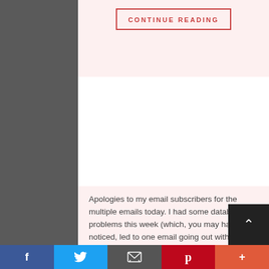CONTINUE READING
Apologies to my email subscribers for the multiple emails today. I had some database problems this week (which, you may have noticed, led to one email going out without an image of the comic attached) but in the course of fixing them, I inadvertently triggered the resending of the last three days of